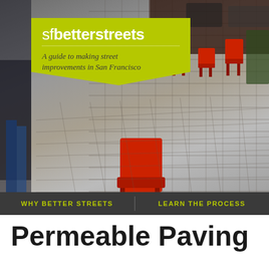[Figure (photo): Outdoor plaza with permeable paving tiles and red chairs, blurred/depth-of-field photo. SF Better Streets branding banner overlaid on photo.]
Permeable Paving